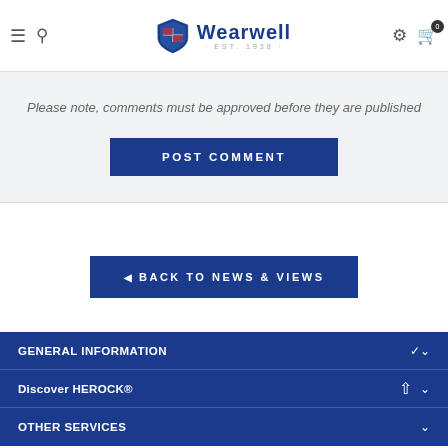Wearwell EST. 1938
Please note, comments must be approved before they are published
POST COMMENT
◄ BACK TO NEWS & VIEWS
GENERAL INFORMATION
Discover HEROCK®
OTHER SERVICES